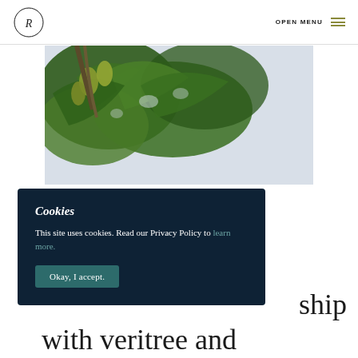R (logo) OPEN MENU ≡
[Figure (photo): Close-up photograph of tropical green monstera leaves with yellow-green fruit pods against a light grey background]
Cookies
This site uses cookies. Read our Privacy Policy to learn more.
[Okay, I accept.]
ship
with veritree and